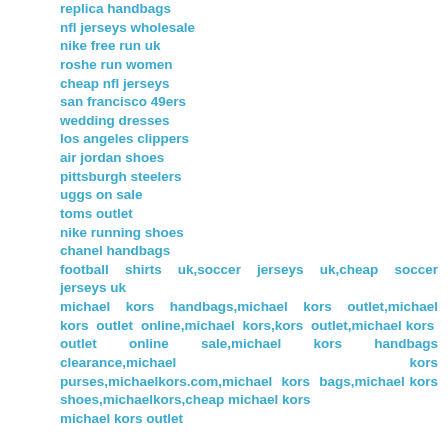replica handbags
nfl jerseys wholesale
nike free run uk
roshe run women
cheap nfl jerseys
san francisco 49ers
wedding dresses
los angeles clippers
air jordan shoes
pittsburgh steelers
uggs on sale
toms outlet
nike running shoes
chanel handbags
football shirts uk,soccer jerseys uk,cheap soccer jerseys uk
michael kors handbags,michael kors outlet,michael kors outlet online,michael kors,kors outlet,michael kors outlet online sale,michael kors handbags clearance,michael kors purses,michaelkors.com,michael kors bags,michael kors shoes,michaelkors,cheap michael kors
michael kors outlet